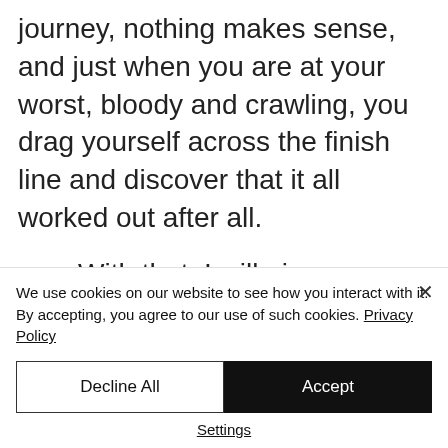journey, nothing makes sense, and just when you are at your worst, bloody and crawling, you drag yourself across the finish line and discover that it all worked out after all.

With that, I will give you a quick catch-up over the last couple of weeks. We still haven't heard about our Visa, but we think that means it's been approved. We are just waiting
We use cookies on our website to see how you interact with it. By accepting, you agree to our use of such cookies. Privacy Policy
Decline All
Accept
Settings